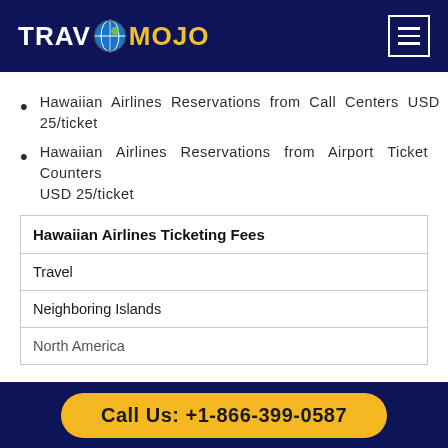[Figure (logo): TravOMojo logo with globe icon on dark navy header, with hamburger menu icon on right]
Hawaiian Airlines Reservations from Call Centers USD 25/ticket
Hawaiian Airlines Reservations from Airport Ticket Counters USD 25/ticket
| Hawaiian Airlines Ticketing Fees |
| --- |
| Travel |
| Neighboring Islands |
| North America |
Call Us: +1-866-399-0587